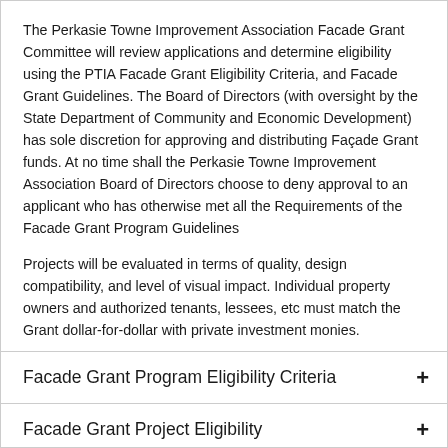The Perkasie Towne Improvement Association Facade Grant Committee will review applications and determine eligibility using the PTIA Facade Grant Eligibility Criteria, and Facade Grant Guidelines. The Board of Directors (with oversight by the State Department of Community and Economic Development) has sole discretion for approving and distributing Façade Grant funds. At no time shall the Perkasie Towne Improvement Association Board of Directors choose to deny approval to an applicant who has otherwise met all the Requirements of the Facade Grant Program Guidelines

Projects will be evaluated in terms of quality, design compatibility, and level of visual impact. Individual property owners and authorized tenants, lessees, etc must match the Grant dollar-for-dollar with private investment monies.
Facade Grant Program Eligibility Criteria +
Facade Grant Project Eligibility +